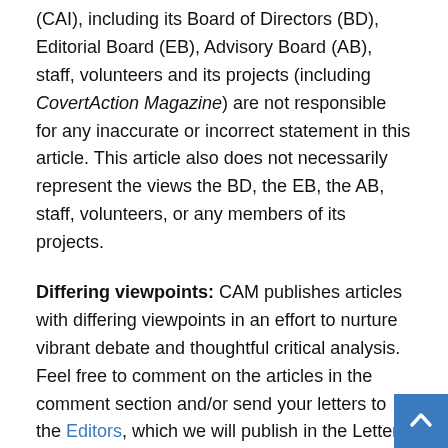(CAI), including its Board of Directors (BD), Editorial Board (EB), Advisory Board (AB), staff, volunteers and its projects (including CovertAction Magazine) are not responsible for any inaccurate or incorrect statement in this article. This article also does not necessarily represent the views the BD, the EB, the AB, staff, volunteers, or any members of its projects.
Differing viewpoints: CAM publishes articles with differing viewpoints in an effort to nurture vibrant debate and thoughtful critical analysis. Feel free to comment on the articles in the comment section and/or send your letters to the Editors, which we will publish in the Letters column.
Copyrighted Material: This web site may contain copyrighted material the use of which has not always been specifically authorized by the copyright owner. As a not-for-profit